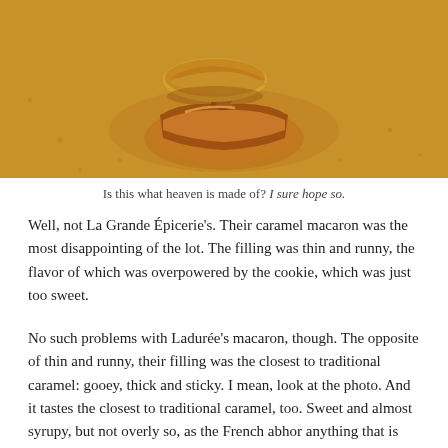[Figure (photo): Close-up photo of a caramel macaron broken open, showing thick caramel filling oozing out, placed on a golden/amber colored surface]
Is this what heaven is made of? I sure hope so.
Well, not La Grande Épicerie's. Their caramel macaron was the most disappointing of the lot. The filling was thin and runny, the flavor of which was overpowered by the cookie, which was just too sweet.
No such problems with Ladurée's macaron, though. The opposite of thin and runny, their filling was the closest to traditional caramel: gooey, thick and sticky. I mean, look at the photo. And it tastes the closest to traditional caramel, too. Sweet and almost syrupy, but not overly so, as the French abhor anything that is saccharine-sweet. The sweet is balanced out by a hint of saltiness, but for me, not